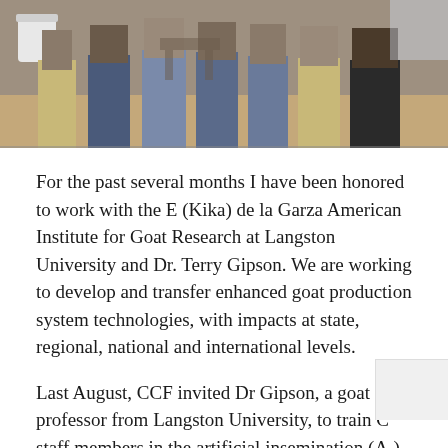[Figure (photo): Group photo of people standing together indoors, cropped to show lower bodies and torsos, with a white bucket visible in the background.]
For the past several months I have been honored to work with the E (Kika) de la Garza American Institute for Goat Research at Langston University and Dr. Terry Gipson. We are working to develop and transfer enhanced goat production system technologies, with impacts at state, regional, national and international levels.
Last August, CCF invited Dr Gipson, a goat professor from Langston University, to train C staff members in the artificial insemination (AI) of